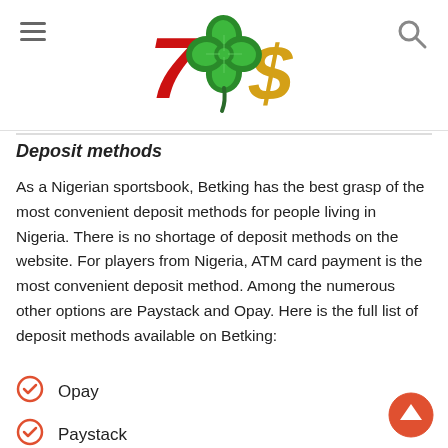[Figure (logo): Casino/gambling logo with red 7, green four-leaf clover, and gold dollar sign]
Deposit methods
As a Nigerian sportsbook, Betking has the best grasp of the most convenient deposit methods for people living in Nigeria. There is no shortage of deposit methods on the website. For players from Nigeria, ATM card payment is the most convenient deposit method. Among the numerous other options are Paystack and Opay. Here is the full list of deposit methods available on Betking:
Opay
Paystack